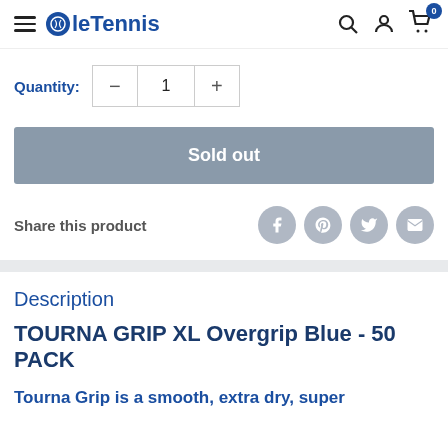Ole Tennis
Quantity: 1
Sold out
Share this product
Description
TOURNA GRIP XL Overgrip Blue - 50 PACK
Tourna Grip is a smooth, extra dry, super